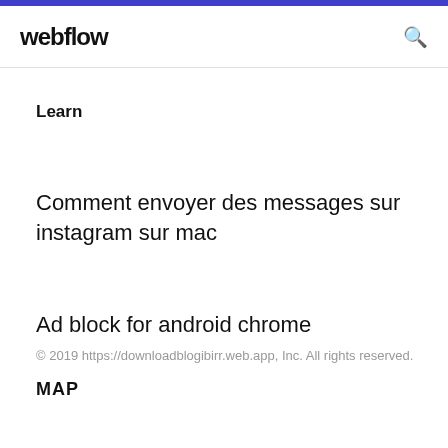webflow
Learn
Comment envoyer des messages sur instagram sur mac
Ad block for android chrome
© 2019 https://downloadblogibirr.web.app, Inc. All rights reserved.
MAP